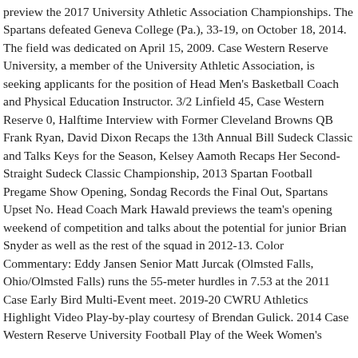preview the 2017 University Athletic Association Championships. The Spartans defeated Geneva College (Pa.), 33-19, on October 18, 2014. The field was dedicated on April 15, 2009. Case Western Reserve University, a member of the University Athletic Association, is seeking applicants for the position of Head Men's Basketball Coach and Physical Education Instructor. 3/2 Linfield 45, Case Western Reserve 0, Halftime Interview with Former Cleveland Browns QB Frank Ryan, David Dixon Recaps the 13th Annual Bill Sudeck Classic and Talks Keys for the Season, Kelsey Aamoth Recaps Her Second-Straight Sudeck Classic Championship, 2013 Spartan Football Pregame Show Opening, Sondag Records the Final Out, Spartans Upset No. Head Coach Mark Hawald previews the team's opening weekend of competition and talks about the potential for junior Brian Snyder as well as the rest of the squad in 2012-13. Color Commentary: Eddy Jansen Senior Matt Jurcak (Olmsted Falls, Ohio/Olmsted Falls) runs the 55-meter hurdles in 7.53 at the 2011 Case Early Bird Multi-Event meet. 2019-20 CWRU Athletics Highlight Video Play-by-play courtesy of Brendan Gulick. 2014 Case Western Reserve University Football Play of the Week Women's